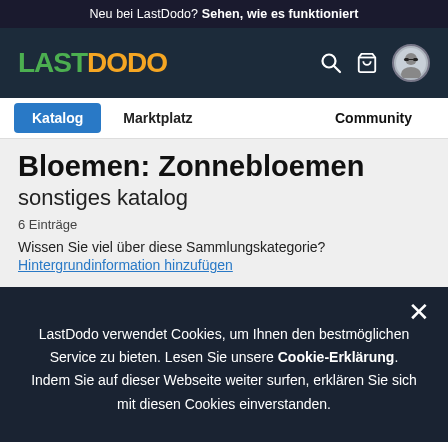Neu bei LastDodo? Sehen, wie es funktioniert
[Figure (logo): LastDodo logo with LAST in green and DODO in orange/yellow, with search, cart, and user avatar icons]
Katalog | Marktplatz | Community
Bloemen: Zonnebloemen
sonstiges katalog
6 Einträge
Wissen Sie viel über diese Sammlungskategorie?
Hintergrundinformation hinzufügen
LastDodo verwendet Cookies, um Ihnen den bestmöglichen Service zu bieten. Lesen Sie unsere Cookie-Erklärung. Indem Sie auf dieser Webseite weiter surfen, erklären Sie sich mit diesen Cookies einverstanden.